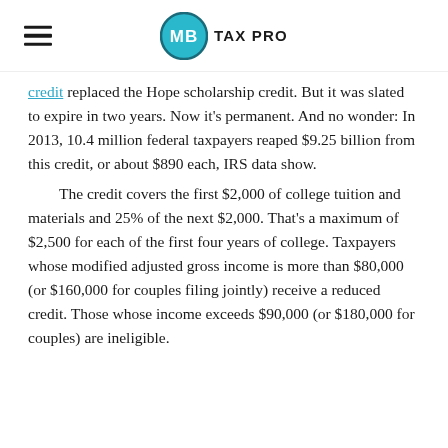MB TAX PRO
credit replaced the Hope scholarship credit. But it was slated to expire in two years. Now it's permanent. And no wonder: In 2013, 10.4 million federal taxpayers reaped $9.25 billion from this credit, or about $890 each, IRS data show.
The credit covers the first $2,000 of college tuition and materials and 25% of the next $2,000. That's a maximum of $2,500 for each of the first four years of college. Taxpayers whose modified adjusted gross income is more than $80,000 (or $160,000 for couples filing jointly) receive a reduced credit. Those whose income exceeds $90,000 (or $180,000 for couples) are ineligible.